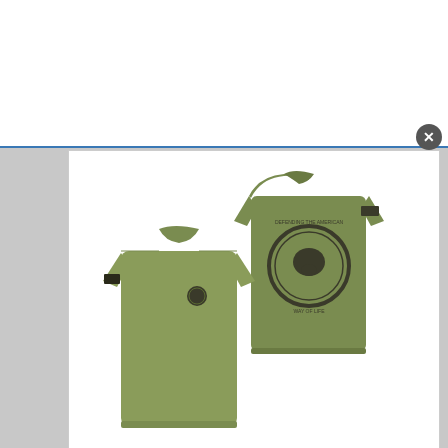[Figure (photo): Product photo showing front and back views of an olive/military green t-shirt with a patriot seal graphic on the back and a small flag patch on the sleeve]
Grunt Style Patriot Seal Men's T-Shirt (Military Green, Large)
[Figure (logo): Amazon Prime logo with orange checkmark and 'Prime' text in orange italic]